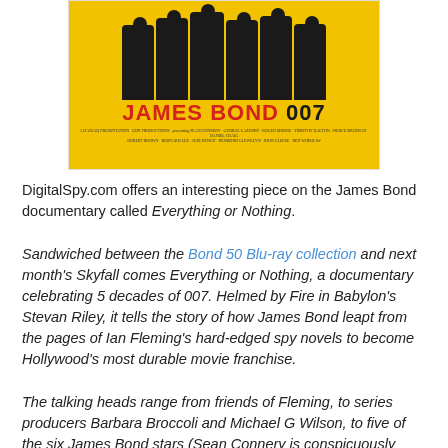[Figure (photo): James Bond 007 promotional poster on yellow background showing silhouettes of actors in suits with 'JAMES BOND 007' text in red and black]
DigitalSpy.com offers an interesting piece on the James Bond documentary called Everything or Nothing.
Sandwiched between the Bond 50 Blu-ray collection and next month's Skyfall comes Everything or Nothing, a documentary celebrating 5 decades of 007. Helmed by Fire in Babylon's Stevan Riley, it tells the story of how James Bond leapt from the pages of Ian Fleming's hard-edged spy novels to become Hollywood's most durable movie franchise.
The talking heads range from friends of Fleming, to series producers Barbara Broccoli and Michael G Wilson, to five of the six James Bond stars (Sean Connery is conspicuously absent), as Riley cleverly weaves in footage from the Bond...